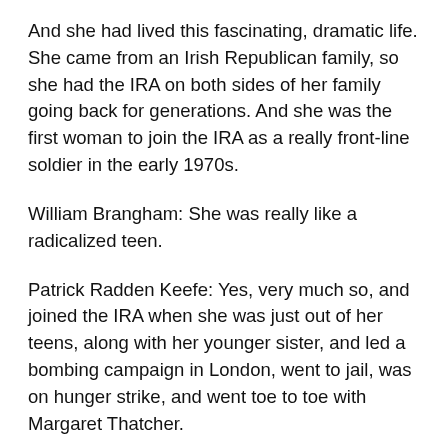And she had lived this fascinating, dramatic life. She came from an Irish Republican family, so she had the IRA on both sides of her family going back for generations. And she was the first woman to join the IRA as a really front-line soldier in the early 1970s.
William Brangham: She was really like a radicalized teen.
Patrick Radden Keefe: Yes, very much so, and joined the IRA when she was just out of her teens, along with her younger sister, and led a bombing campaign in London, went to jail, was on hunger strike, and went toe to toe with Margaret Thatcher.